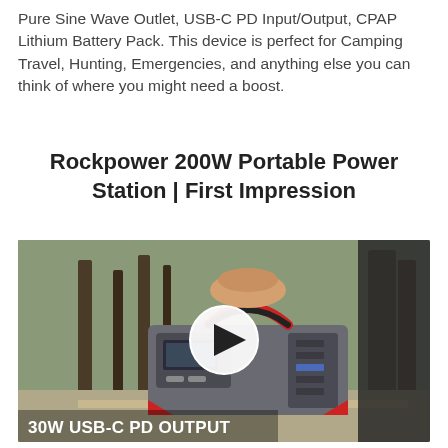Pure Sine Wave Outlet, USB-C PD Input/Output, CPAP Lithium Battery Pack. This device is perfect for Camping Travel, Hunting, Emergencies, and anything else you can think of where you might need a boost.
Rockpower 200W Portable Power Station | First Impression
[Figure (photo): Video thumbnail showing a hand holding a Rockpower 200W portable power station on an outdoor table with trees in background. A white circular play button is centered over the image. Text overlay at bottom reads '30W USB-C PD OUTPUT'.]